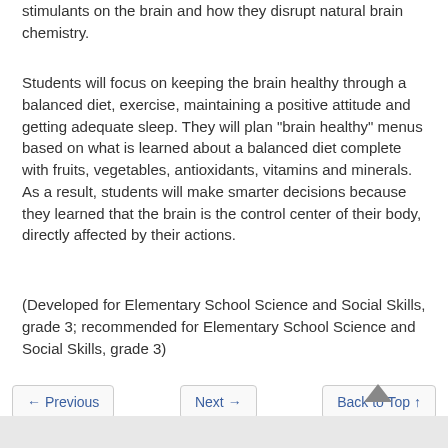stimulants on the brain and how they disrupt natural brain chemistry.
Students will focus on keeping the brain healthy through a balanced diet, exercise, maintaining a positive attitude and getting adequate sleep. They will plan "brain healthy" menus based on what is learned about a balanced diet complete with fruits, vegetables, antioxidants, vitamins and minerals. As a result, students will make smarter decisions because they learned that the brain is the control center of their body, directly affected by their actions.
(Developed for Elementary School Science and Social Skills, grade 3; recommended for Elementary School Science and Social Skills, grade 3)